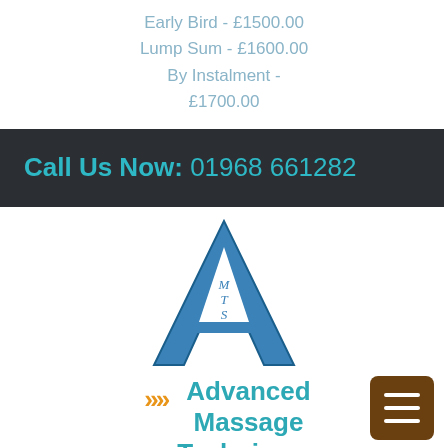Early Bird - £1500.00
Lump Sum - £1600.00
By Instalment - £1700.00
Call Us Now: 01968 661282
[Figure (logo): AMTS logo — large letter A in blue with letters M, T, S stacked inside]
Advanced Massage Techniques